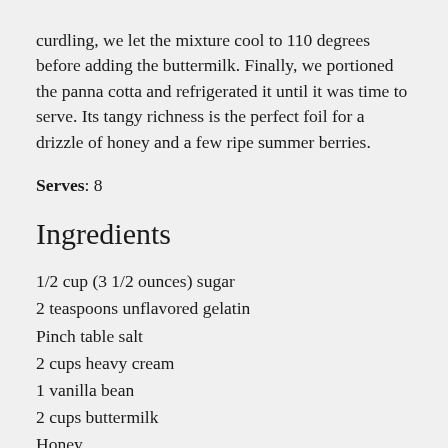curdling, we let the mixture cool to 110 degrees before adding the buttermilk. Finally, we portioned the panna cotta and refrigerated it until it was time to serve. Its tangy richness is the perfect foil for a drizzle of honey and a few ripe summer berries.
Serves: 8
Ingredients
1/2 cup (3 1/2 ounces) sugar
2 teaspoons unflavored gelatin
Pinch table salt
2 cups heavy cream
1 vanilla bean
2 cups buttermilk
Honey